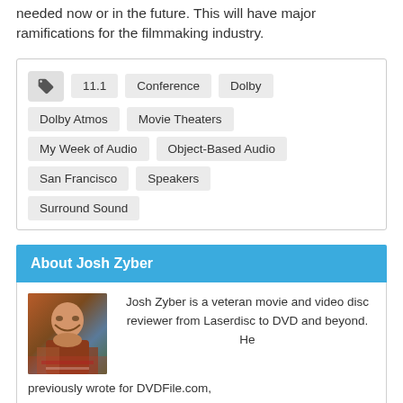needed now or in the future. This will have major ramifications for the filmmaking industry.
11.1
Conference
Dolby
Dolby Atmos
Movie Theaters
My Week of Audio
Object-Based Audio
San Francisco
Speakers
Surround Sound
About Josh Zyber
[Figure (photo): Photo of Josh Zyber]
Josh Zyber is a veteran movie and video disc reviewer from Laserdisc to DVD and beyond. He previously wrote for DVDFile.com,